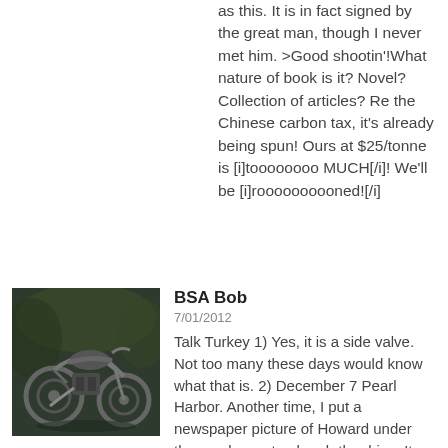as this. It is in fact signed by the great man, though I never met him. >Good shootin'!What nature of book is it? Novel? Collection of articles? Re the Chinese carbon tax, it's already being spun! Ours at $25/tonne is [i]toooooooo MUCH[/i]! We'll be [i]roooooooooned![/i]
[Figure (photo): Avatar photo of a vintage BSA motorcycle in a garden/outdoor setting, dark tones]
BSA Bob
7/01/2012
Talk Turkey 1) Yes, it is a side valve. Not too many these days would know what that is. 2) December 7 Pearl Harbor. Another time, I put a newspaper picture of Howard under the crankcase to absorb the drips. It leaked about three times as much oil as usual & wouldn't start next morning. It's true. Good luck with finding the Bantam logo. 3) The Hepworth book's a collection of essays on a variety of topics, anything that took his fancy, as I recall. 4) Thanks, I should've forseen so obvious a tactic as simply saying "their price is OK but ours isn't". Abbott would easily rationalise a complete backflip on the issue